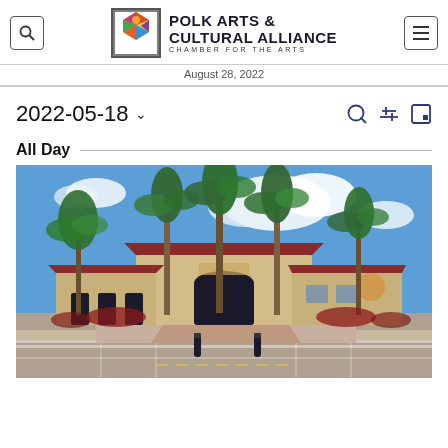Polk Arts & Cultural Alliance — Chamber for the Arts — August 28, 2022
2022-05-18
All Day
[Figure (photo): Exterior photograph of a public building (library) with palm trees, red-tiled roof, blue sky with clouds, parking area in foreground with bollards and landscaping.]